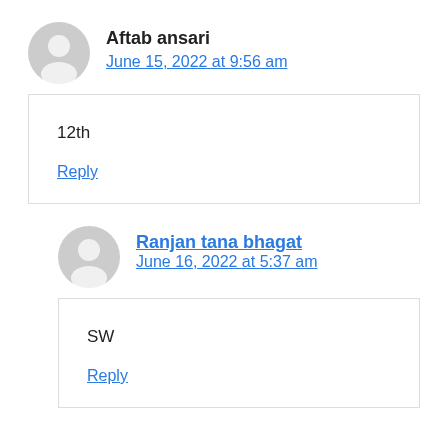Aftab ansari
June 15, 2022 at 9:56 am
12th
Reply
Ranjan tana bhagat
June 16, 2022 at 5:37 am
SW
Reply